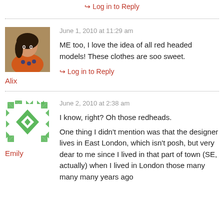Log in to Reply
June 1, 2010 at 11:29 am
[Figure (photo): Profile photo of Alix, a woman in an orange top]
Alix
ME too, I love the idea of all red headed models! These clothes are soo sweet.
Log in to Reply
June 2, 2010 at 2:38 am
[Figure (illustration): Green geometric pattern avatar for Emily]
Emily
I know, right? Oh those redheads.
One thing I didn't mention was that the designer lives in East London, which isn't posh, but very dear to me since I lived in that part of town (SE, actually) when I lived in London those many many many years ago